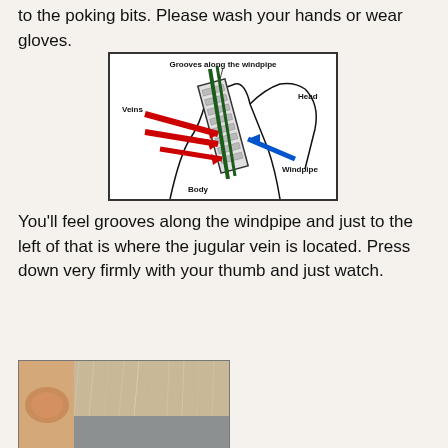to the poking bits. Please wash your hands or wear gloves.
[Figure (illustration): Anatomical diagram of a chicken neck cross-section showing labeled parts: Grooves along the windpipe, Head, Veins (red arrows), Windpipe (blue arrow), Body. The diagram uses color-coded arrows on a white background with a black border.]
You'll feel grooves along the windpipe and just to the left of that is where the jugular vein is located. Press down very firmly with your thumb and just watch.
[Figure (photo): Close-up photo of a person's hand pressing on the neck/throat area of a chicken, showing fur/feathers and skin.]